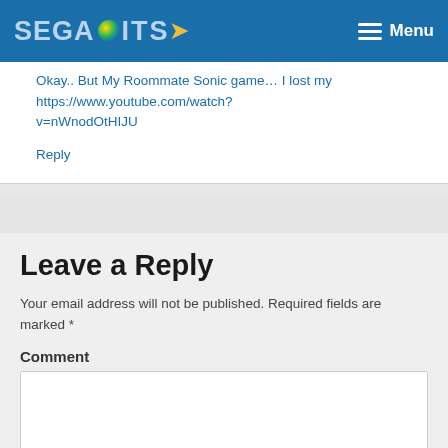SEGABITS — Menu
Okay.. But My Roommate Sonic game… I lost my https://www.youtube.com/watch?v=nWnodOtHIJU
Reply
Leave a Reply
Your email address will not be published. Required fields are marked *
Comment
Name *